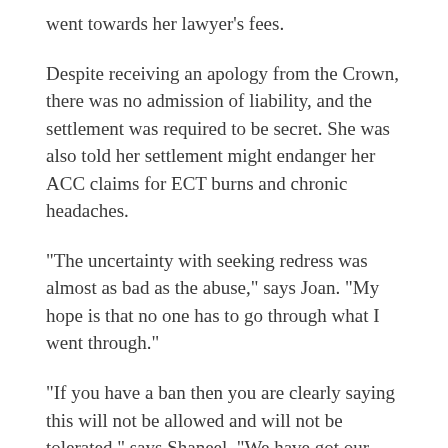went towards her lawyer's fees.
Despite receiving an apology from the Crown, there was no admission of liability, and the settlement was required to be secret. She was also told her settlement might endanger her ACC claims for ECT burns and chronic headaches.
“The uncertainty with seeking redress was almost as bad as the abuse,” says Joan. “My hope is that no one has to go through what I went through.”
“If you have a ban then you are clearly saying this will not be allowed and will not be tolerated,” says Shaneel. “We have got our issues being brushed under the carpet and we need to bring them up, or